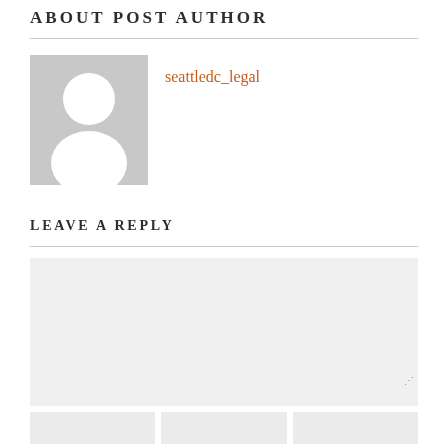ABOUT POST AUTHOR
seattledc_legal
[Figure (illustration): Default user avatar placeholder — grey square with a white silhouette of a person (head and shoulders)]
LEAVE A REPLY
Comment text area (empty input box)
Three input fields for name, email, website